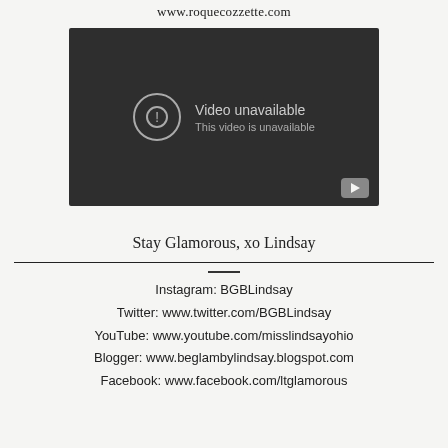www.roquecozzette.com
[Figure (screenshot): Embedded video player showing 'Video unavailable - This video is unavailable' message with a YouTube play button icon in the bottom right corner. Dark gray background.]
Stay Glamorous, xo Lindsay
Instagram: BGBLindsay
Twitter: www.twitter.com/BGBLindsay
YouTube: www.youtube.com/misslindsayohio
Blogger: www.beglambylindsay.blogspot.com
Facebook: www.facebook.com/ltglamorous